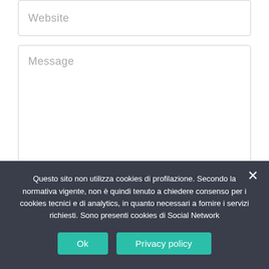[Figure (screenshot): Website input field with placeholder text 'Website']
[Figure (screenshot): Message textarea with placeholder text 'Message' and resize handle in bottom-right corner]
[Figure (screenshot): Checkbox (unchecked) for cookie consent]
Do il mio consenso affinché un cookie salvi i miei dati (nome, email, sito web) in questo
Questo sito non utilizza cookies di profilazione. Secondo la normativa vigente, non è quindi tenuto a chiedere consenso per i cookies tecnici e di analytics, in quanto necessari a fornire i servizi richiesti. Sono presenti cookies di Social Network
[Figure (screenshot): Cookie banner with Ok and Privacy policy buttons and close X button]